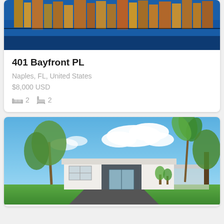[Figure (photo): Aerial or waterfront city reflection photo, blue water with colorful building reflections, partially cropped at top]
401 Bayfront PL
Naples, FL, United States
$8,000 USD
2 bedrooms, 2 bathrooms
[Figure (photo): Exterior photo of a single-story white and dark grey mid-century modern home with palm trees, blue sky with clouds, and a paved driveway]